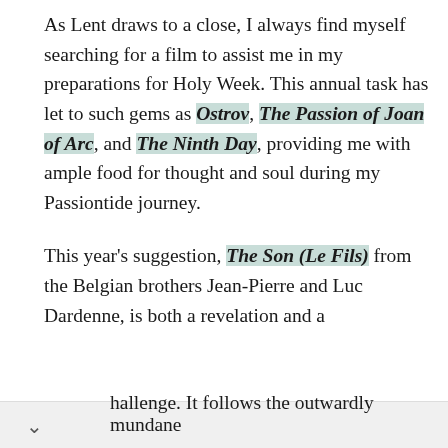As Lent draws to a close, I always find myself searching for a film to assist me in my preparations for Holy Week. This annual task has let to such gems as Ostrov, The Passion of Joan of Arc, and The Ninth Day, providing me with ample food for thought and soul during my Passiontide journey.
This year's suggestion, The Son (Le Fils) from the Belgian brothers Jean-Pierre and Luc Dardenne, is both a revelation and a challenge. It follows the outwardly mundane